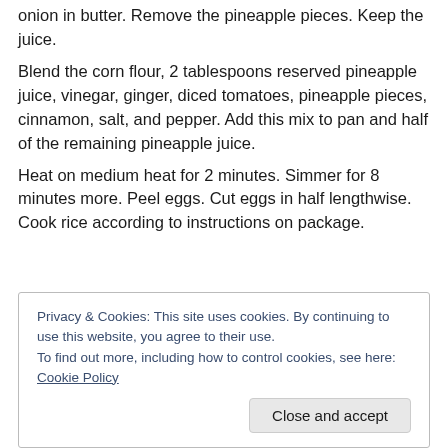onion in butter. Remove the pineapple pieces. Keep the juice.
Blend the corn flour, 2 tablespoons reserved pineapple juice, vinegar, ginger, diced tomatoes, pineapple pieces, cinnamon, salt, and pepper. Add this mix to pan and half of the remaining pineapple juice.
Heat on medium heat for 2 minutes. Simmer for 8 minutes more. Peel eggs. Cut eggs in half lengthwise. Cook rice according to instructions on package.
Privacy & Cookies: This site uses cookies. By continuing to use this website, you agree to their use. To find out more, including how to control cookies, see here: Cookie Policy